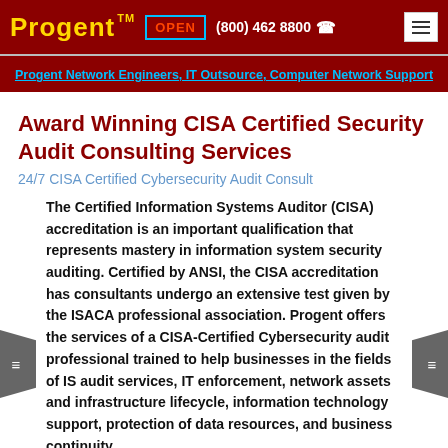Progent™  OPEN  (800) 462 8800  ☎
Progent Network Engineers, IT Outsource, Computer Network Support
Award Winning CISA Certified Security Audit Consulting Services
24/7 CISA Certified Cybersecurity Audit Consult
The Certified Information Systems Auditor (CISA) accreditation is an important qualification that represents mastery in information system security auditing. Certified by ANSI, the CISA accreditation has consultants undergo an extensive test given by the ISACA professional association. Progent offers the services of a CISA-Certified Cybersecurity audit professional trained to help businesses in the fields of IS audit services, IT enforcement, network assets and infrastructure lifecycle, information technology support, protection of data resources, and business continuity.